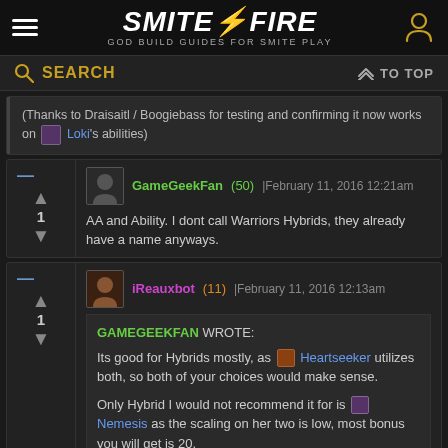SMITE FIRE - GOD BUILD GUIDES FOR SMITE PLAY
SEARCH | TO TOP
(Thanks to Draisaitl / Boogiebass for testing and confirming it now works on Loki's abilities)
GameGeekFan (50) | February 11, 2016 12:21am
AA and Ability. I dont call Warriors Hybrids, they already have a name anyways.
iReauxbot (11) | February 11, 2016 12:13am
GAMEGEEKFAN WROTE:
Its good for Hybrids mostly, as Heartseeker utilizes both, so both of your choices would make sense.
Only Hybrid I would not recommend it for is Nemesis as the scaling on her two is low, most bonus you will get is 20.